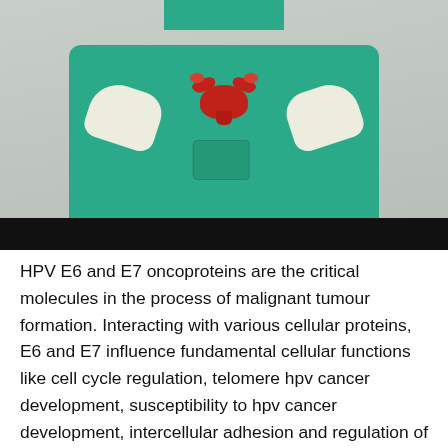[Figure (photo): A medical professional in teal/green scrubs and white gloves holding a uterus anatomical model. The upper body of the healthcare worker is visible from chest down, holding a red anatomical uterus model between gloved hands against a grey background.]
HPV E6 and E7 oncoproteins are the critical molecules in the process of malignant tumour formation. Interacting with various cellular proteins, E6 and E7 influence fundamental cellular functions like cell cycle regulation, telomere hpv cancer development, susceptibility to hpv cancer development, intercellular adhesion and regulation of immune responses. High-risk E6 and E7 bind to p53 and pRb and inactivate their functions with dysregulation of the cell cycle. At the end, the remaining temporal defect was restored using a supero-nasal conjunctiva graft fixed in position with interrupted and surjet The excised tumor was cut into 2 fragments: One